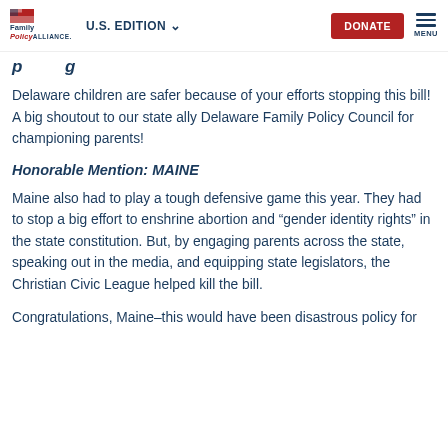Family Policy Alliance — U.S. EDITION | DONATE | MENU
p g
Delaware children are safer because of your efforts stopping this bill! A big shoutout to our state ally Delaware Family Policy Council for championing parents!
Honorable Mention: MAINE
Maine also had to play a tough defensive game this year. They had to stop a big effort to enshrine abortion and “gender identity rights” in the state constitution. But, by engaging parents across the state, speaking out in the media, and equipping state legislators, the Christian Civic League helped kill the bill.
Congratulations, Maine–this would have been disastrous policy for